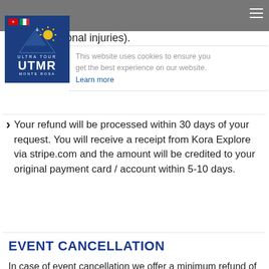serious family illness, accident etc. (not covid-19, job loss, personal injuries).
This website uses cookies to ensure you get the best experience on our website. Learn more
Your refund will be processed within 30 days of your request. You will receive a receipt from Kora Explore via stripe.com and the amount will be credited to your original payment card / account within 5-10 days.
EVENT CANCELLATION
In case of event cancellation we offer a minimum refund of 60% registration (80% accommodation for the Stage Race) up until 15 days prior to the race. A larger refund or